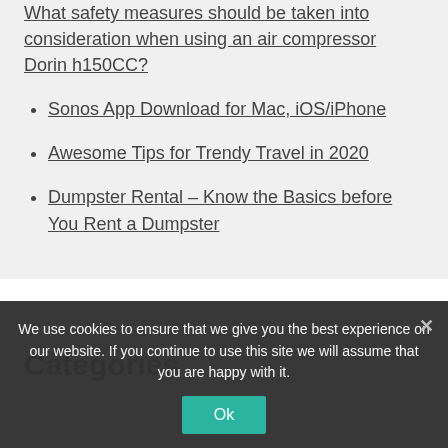What safety measures should be taken into consideration when using an air compressor Dorin h150CC?
Sonos App Download for Mac, iOS/iPhone
Awesome Tips for Trendy Travel in 2020
Dumpster Rental – Know the Basics before You Rent a Dumpster
Categories
We use cookies to ensure that we give you the best experience on our website. If you continue to use this site we will assume that you are happy with it.